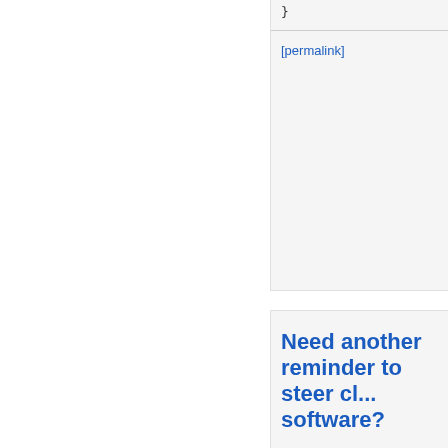}
[permalink]
Need another reminder to steer cl... software?
It's played out over and over a... the vendor decides that this c... deleted from user machines, without regard to the fact tha... reduced functionality as a res... Well, through its "Partner" ar... position of doing the same thi...
read more…